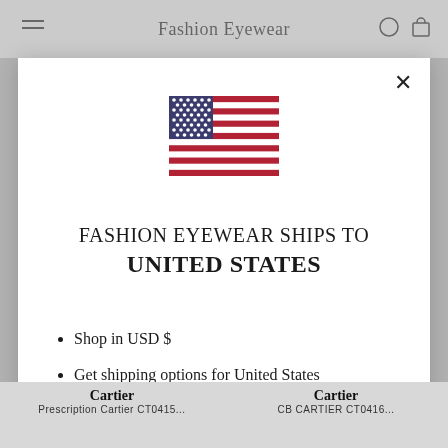Fashion Eyewear
[Figure (illustration): US flag SVG illustration inside modal dialog]
FASHION EYEWEAR SHIPS TO UNITED STATES
Shop in USD $
Get shipping options for United States
Shop now
Change shipping country